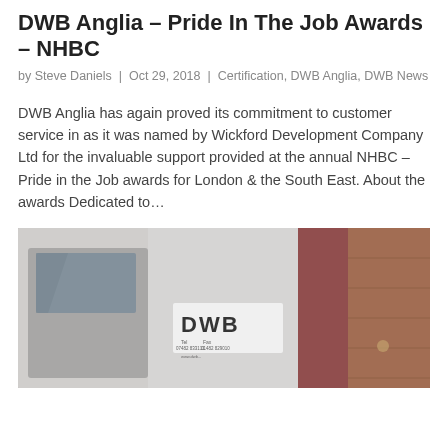DWB Anglia – Pride In The Job Awards – NHBC
by Steve Daniels | Oct 29, 2018 | Certification, DWB Anglia, DWB News
DWB Anglia has again proved its commitment to customer service in as it was named by Wickford Development Company Ltd for the invaluable support provided at the annual NHBC – Pride in the Job awards for London & the South East. About the awards Dedicated to…
[Figure (photo): Photo of a white DWB branded van with the DWB logo and contact details visible on the side, parked next to a red structure.]